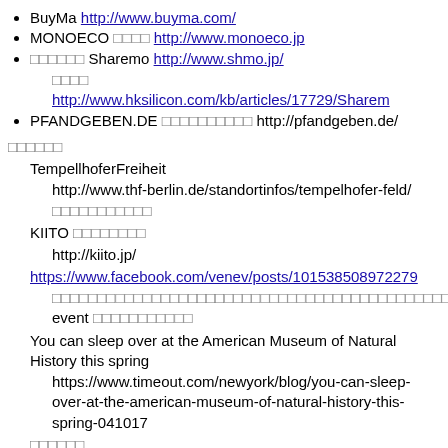BuyMa http://www.buyma.com/
MONOECO □□□□ http://www.monoeco.jp
□□□□□□ Sharemo http://www.shmo.jp/
□□□□ http://www.hksilicon.com/kb/articles/17729/Sharem
PFANDGEBEN.DE □□□□□□□□□□ http://pfandgeben.de/
□□□□□□
TempellhoferFreiheit
http://www.thf-berlin.de/standortinfos/tempelhofer-feld/
□□□□□□□□□□□
KIITO □□□□□□□□
http://kiito.jp/
https://www.facebook.com/venev/posts/101538508972279
□□□□□□□□□□□□□□□□□□□□□□□□□□□□□□□□□□□□□□□□□□□□□□□□□ event □□□□□□□□□□□
You can sleep over at the American Museum of Natural History this spring
https://www.timeout.com/newyork/blog/you-can-sleep-over-at-the-american-museum-of-natural-history-this-spring-041017
□□□□□□
À SAINT-ÉTIENNE, LE MOBILIER URBAIN EXPÉRIMENTAL INVESTIT L'ESPACE PUBLIC